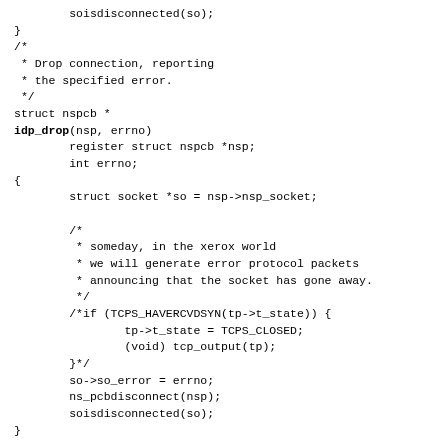Code snippet showing C source code with soisdisconnected, idp_drop, and idp_output functions